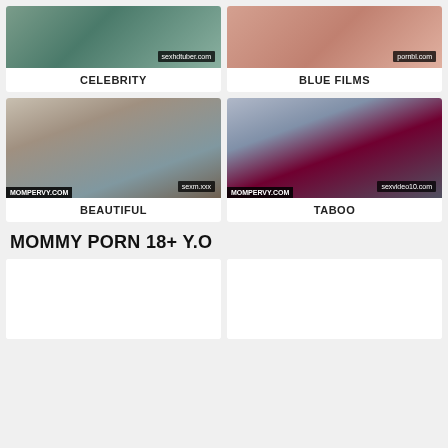[Figure (photo): Thumbnail image for CELEBRITY category with watermark sexhdtuber.com]
CELEBRITY
[Figure (photo): Thumbnail image for BLUE FILMS category with watermark pornbl.com]
BLUE FILMS
[Figure (photo): Thumbnail image for BEAUTIFUL category with watermarks sexm.xxx and MOMPERVY.COM]
BEAUTIFUL
[Figure (photo): Thumbnail image for TABOO category with watermarks sexvideo10.com and MOMPERVY.COM]
TABOO
MOMMY PORN 18+ Y.O
[Figure (photo): Blank/loading thumbnail card left]
[Figure (photo): Blank/loading thumbnail card right]